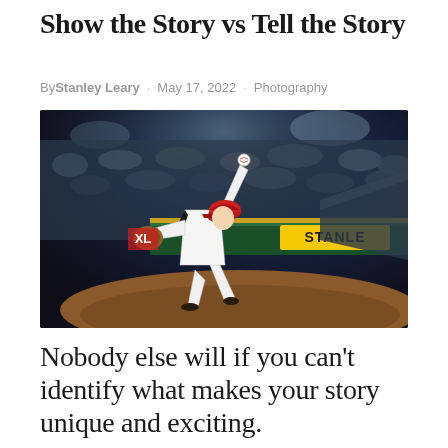Show the Story vs Tell the Story
By Stanley Leary · May 17, 2022 · Photography
[Figure (photo): Baseball pitcher in white uniform with red cap in mid-throw at stadium with crowd in background and STANLEY advertisement visible]
Nobody else will if you can't identify what makes your story unique and exciting.